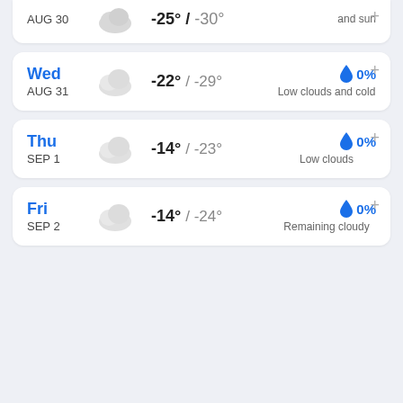AUG 30 / and sun
Wed AUG 31 / -22° / -29° / 0% Low clouds and cold
Thu SEP 1 / -14° / -23° / 0% Low clouds
Fri SEP 2 / -14° / -24° / 0% Remaining cloudy